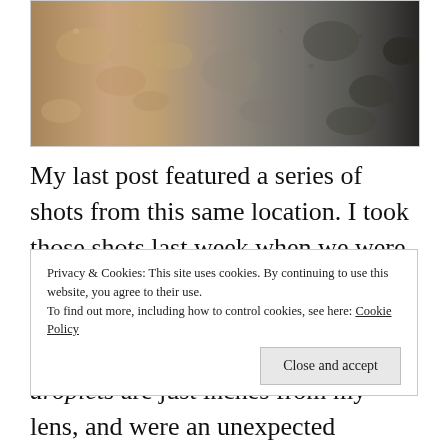[Figure (photo): Close-up photograph of rough stone or rock surface, showing texture with sandy brown tones on the left transitioning to darker grey-black tones on the right.]
My last post featured a series of shots from this same location. I took those shots last week when we were experiencing King Tide. This photo, which is an all-time favorite is from around the same time last year. The droplets are just inches from my lens, and were an unexpected surprise. My camera was set to Automatic Focus and the lens was anticipating the tower as the center of the
Privacy & Cookies: This site uses cookies. By continuing to use this website, you agree to their use.
To find out more, including how to control cookies, see here: Cookie Policy
Close and accept